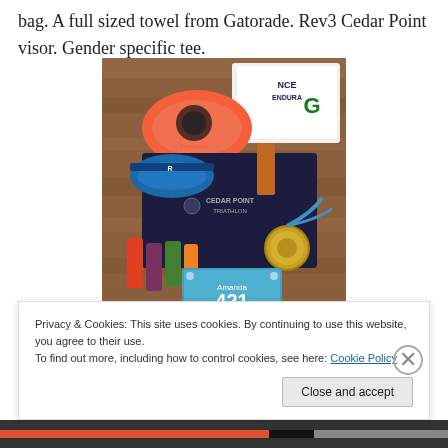bag.  A full sized towel from Gatorade.  Rev3 Cedar Point visor.  Gender specific tee.
[Figure (photo): A flat lay photo of triathlon race swag items including a PowerBar visor (orange/pink), a blue Rev3 Cedar Point visor, a dark navy Cedar Point Triathlon shirt, Gatorade Endurance towel, a finisher medal, race number bib reading '421 Amanda', small bottles and containers of sports nutrition products, and a lanyard.]
Privacy & Cookies: This site uses cookies. By continuing to use this website, you agree to their use.
To find out more, including how to control cookies, see here: Cookie Policy